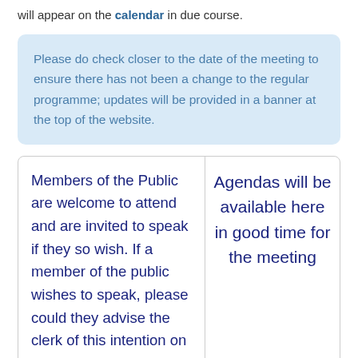will appear on the calendar in due course.
Please do check closer to the date of the meeting to ensure there has not been a change to the regular programme; updates will be provided in a banner at the top of the website.
Members of the Public are welcome to attend and are invited to speak if they so wish. If a member of the public wishes to speak, please could they advise the clerk of this intention on arrival.
Agendas will be available here in good time for the meeting